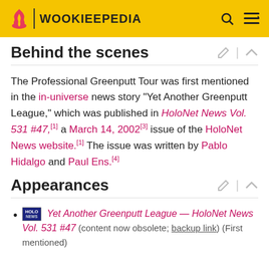WOOKIEEPEDIA
Behind the scenes
The Professional Greenputt Tour was first mentioned in the in-universe news story "Yet Another Greenputt League," which was published in HoloNet News Vol. 531 #47,[1] a March 14, 2002[3] issue of the HoloNet News website.[1] The issue was written by Pablo Hidalgo and Paul Ens.[4]
Appearances
Yet Another Greenputt League — HoloNet News Vol. 531 #47 (content now obsolete; backup link) (First mentioned)